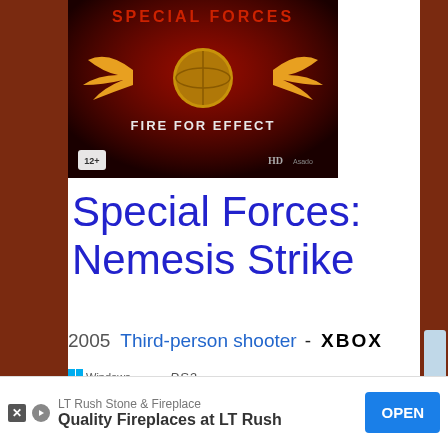[Figure (photo): Game cover art for Special Forces: Nemesis Strike / Fire for Effect showing a phoenix emblem with golden wings on a dark red background, rated 12+]
Special Forces: Nemesis Strike
2005  Third-person shooter - XBOX
[Figure (logo): Windows logo and PlayStation 2 logo displayed as platform availability icons]
Get game Special Forces: Nemesis
LT Rush Stone & Fireplace  Quality Fireplaces at LT Rush  OPEN